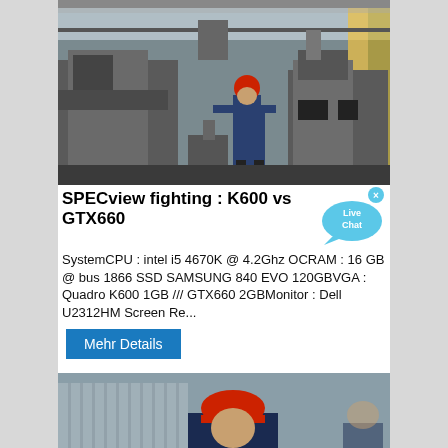[Figure (photo): Industrial factory floor with a worker in red helmet and blue overalls operating heavy machinery and equipment]
SPECview fighting : K600 vs GTX660
SystemCPU : intel i5 4670K @ 4.2Ghz OCRAM : 16 GB @ bus 1866 SSD SAMSUNG 840 EVO 120GBVGA : Quadro K600 1GB /// GTX660 2GBMonitor : Dell U2312HM Screen Re...
Mehr Details
[Figure (photo): Worker in red helmet and dark blue uniform examining or working on a large circular metal industrial component]